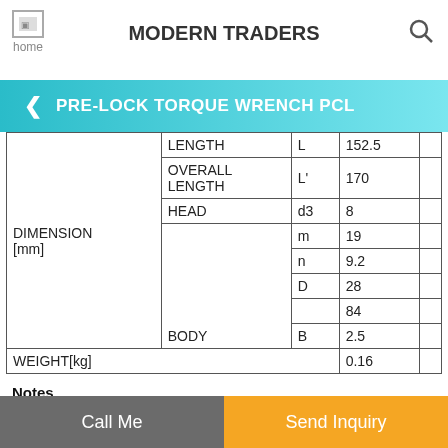MODERN TRADERS
PRE-LOCK TORQUE WRENCH PCL
|  | PARAMETER | SYM | VALUE |
| --- | --- | --- | --- |
| DIMENSION [mm] | LENGTH | L | 152.5 |
|  | OVERALL LENGTH | L' | 170 |
|  | HEAD | d3 | 8 |
|  | BODY | m | 19 |
|  |  | n | 9.2 |
|  |  | D | 28 |
|  |  |  | 84 |
|  |  | B | 2.5 |
| WEIGHT[kg] |  |  | 0.16 |
Notes
Overall length does not include interchangeable